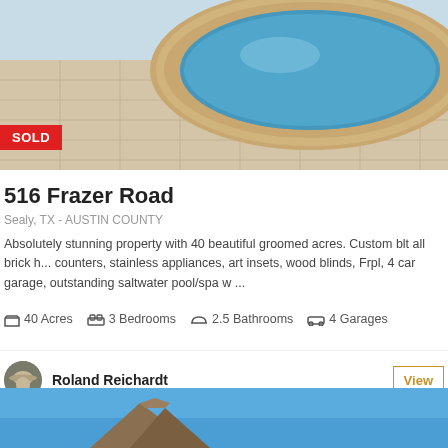[Figure (photo): Aerial/close-up photo of a circular pool/spa with tan stone surround, blue water, on a light tile patio. SOLD badge overlaid at bottom-left.]
516 Frazer Road
Sealy, TX - AUSTIN COUNTY
Absolutely stunning property with 40 beautiful groomed acres. Custom blt all brick h... counters, stainless appliances, art insets, wood blinds, Frpl, 4 car garage, outstanding saltwater pool/spa w ...
40 Acres  3 Bedrooms  2.5 Bathrooms  4 Garages
Roland Reichardt
[Figure (photo): Bottom partial photo showing roofline of house against blue sky.]